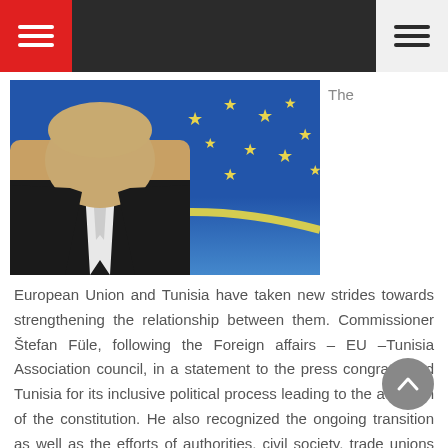Navigation bar with menu buttons
[Figure (photo): Photo of a man in a dark suit with a light tie, speaking, with a blue EU flag with yellow stars in the background. Commissioner Štefan Füle.]
The European Union and Tunisia have taken new strides towards strengthening the relationship between them. Commissioner Štefan Füle, following the Foreign affairs – EU –Tunisia Association council, in a statement to the press congratulated Tunisia for its inclusive political process leading to the adoption of the constitution. He also recognized the ongoing transition as well as the efforts of authorities, civil society, trade unions and businesses to continue the